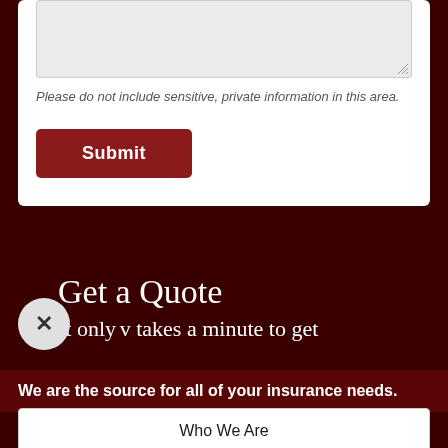Please do not include sensitive, private information in this area.
Submit
Get a Quote
It only takes a minute to get
We are the source for all of your insurance needs.
Who We Are
Get a Quote